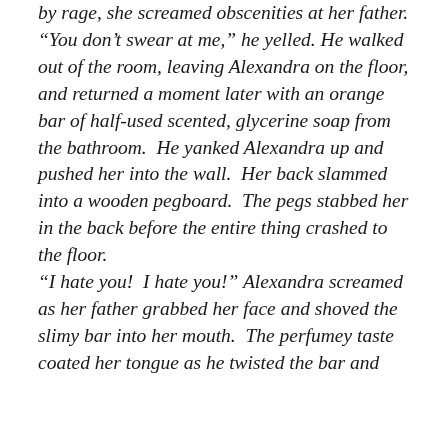by rage, she screamed obscenities at her father. “You don’t swear at me,” he yelled. He walked out of the room, leaving Alexandra on the floor, and returned a moment later with an orange bar of half-used scented, glycerine soap from the bathroom.  He yanked Alexandra up and pushed her into the wall.  Her back slammed into a wooden pegboard.  The pegs stabbed her in the back before the entire thing crashed to the floor. “I hate you!  I hate you!” Alexandra screamed as her father grabbed her face and shoved the slimy bar into her mouth.  The perfumey taste coated her tongue as he twisted the bar and